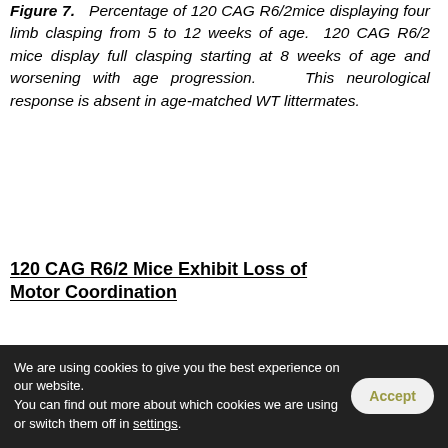Figure 7. Percentage of 120 CAG R6/2mice displaying four limb clasping from 5 to 12 weeks of age. 120 CAG R6/2 mice display full clasping starting at 8 weeks of age and worsening with age progression. This neurological response is absent in age-matched WT littermates.
120 CAG R6/2 Mice Exhibit Loss of Motor Coordination
[Figure (other): Partial view of a chart with WT label and legend marker visible at the bottom of the page]
We are using cookies to give you the best experience on our website. You can find out more about which cookies we are using or switch them off in settings.